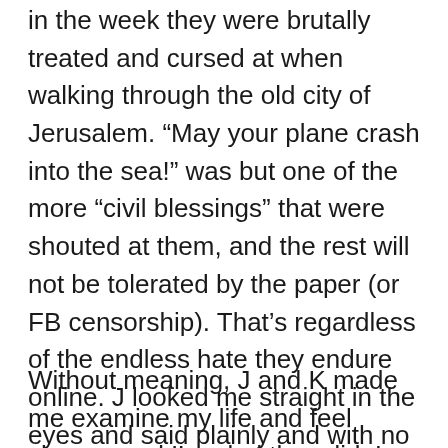in the week they were brutally treated and cursed at when walking through the old city of Jerusalem. “May your plane crash into the sea!” was but one of the more “civil blessings” that were shouted at them, and the rest will not be tolerated by the paper (or FB censorship). That’s regardless of the endless hate they endure online. J looked me straight in the eyes and said plainly and with no etiquette “We want peace? It comes with a price. If it’s on me to pay it, so be it”.
Without meaning, J and K made me examine my life and feel shame, and I’m glad they did. In comparison to the risks they are taking, the things